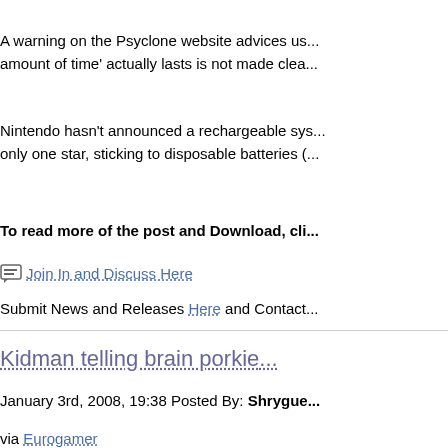A warning on the Psyclone website advices us... amount of time' actually lasts is not made clea...
Nintendo hasn't announced a rechargeable sys... only one star, sticking to disposable batteries (...
To read more of the post and Download, cli...
Join In and Discuss Here
Submit News and Releases Here and Contact...
Kidman telling brain porkie...
January 3rd, 2008, 19:38 Posted By: Shrygue...
via Eurogamer
Celebrities such as Nicole Kidman and Patrick...
In a television advert the Australian actress cla... great way to keep my mind feeling young."
But cognitive neuroscientist Dr. Jason Braithwa...
"There is no conclusive evidence showing that... any tech should lead to some form of impr...